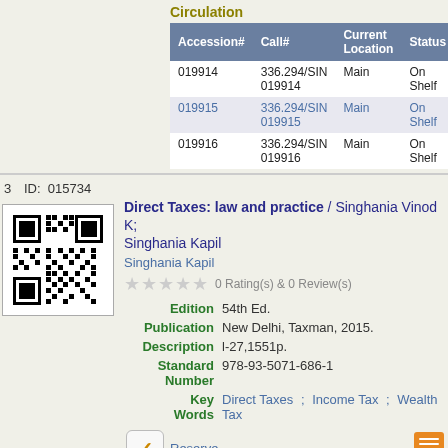Circulation
| Accession# | Call# | Current Location | Status | Policy |
| --- | --- | --- | --- | --- |
| 019914 | 336.294/SIN 019914 | Main | On Shelf | Text |
| 019915 | 336.294/SIN 019915 | Main | On Shelf | Text |
| 019916 | 336.294/SIN 019916 | Main | On Shelf | Text |
3   ID: 015734
[Figure (other): QR code for book ID 015734]
Direct Taxes: law and practice / Singhania Vinod K; Singhania Kapil
Singhania Kapil
0 Rating(s) & 0 Review(s)
Edition: 54th Ed.
Publication: New Delhi, Taxman, 2015.
Description: l-27,1551p.
Standard Number: 978-93-5071-686-1
Key Words: Direct Taxes ; Income Tax ; Wealth Tax
Reserve
Circulation